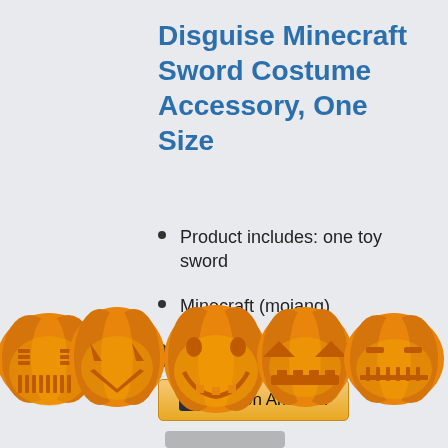Disguise Minecraft Sword Costume Accessory, One Size
Product includes: one toy sword
Minecraft (mojang)
Officially licensed product
$17.99 Prime
Buy on Amazon
[Figure (illustration): Row of six carved Halloween jack-o-lantern pumpkins with glowing orange faces and green stems, plus partial view of a product (sword handle/feet) at the very bottom]